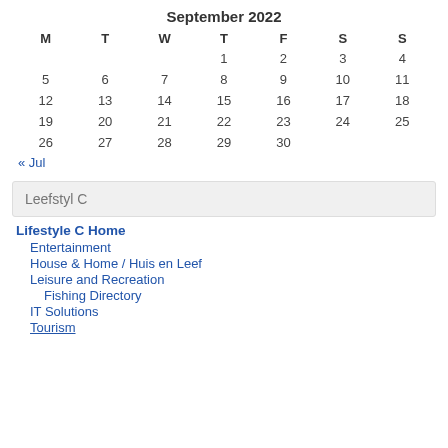September 2022
| M | T | W | T | F | S | S |
| --- | --- | --- | --- | --- | --- | --- |
|  |  |  | 1 | 2 | 3 | 4 |
| 5 | 6 | 7 | 8 | 9 | 10 | 11 |
| 12 | 13 | 14 | 15 | 16 | 17 | 18 |
| 19 | 20 | 21 | 22 | 23 | 24 | 25 |
| 26 | 27 | 28 | 29 | 30 |  |  |
« Jul
Leefstyl C
Lifestyle C Home
Entertainment
House & Home / Huis en Leef
Leisure and Recreation
Fishing Directory
IT Solutions
Tourism